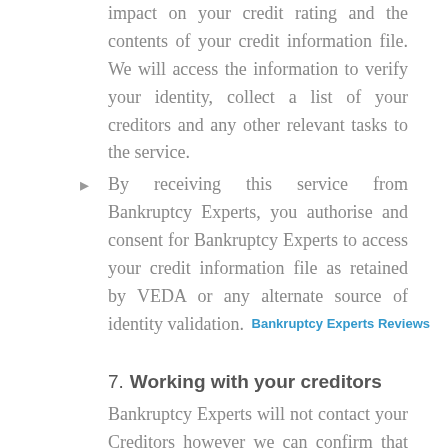impact on your credit rating and the contents of your credit information file. We will access the information to verify your identity, collect a list of your creditors and any other relevant tasks to the service.
By receiving this service from Bankruptcy Experts, you authorise and consent for Bankruptcy Experts to access your credit information file as retained by VEDA or any alternate source of identity validation.
7. Working with your creditors
Bankruptcy Experts will not contact your Creditors however we can confirm that you are in fact a mutual client seeking bankruptcy assistance when a creditor contacts a